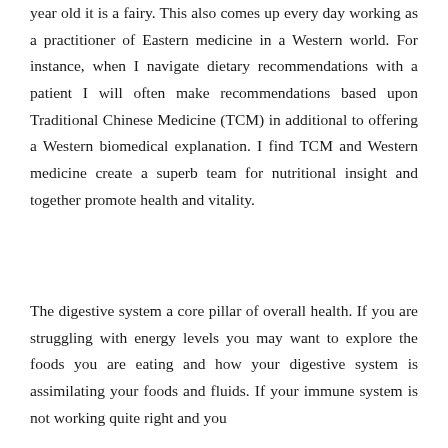year old it is a fairy. This also comes up every day working as a practitioner of Eastern medicine in a Western world. For instance, when I navigate dietary recommendations with a patient I will often make recommendations based upon Traditional Chinese Medicine (TCM) in additional to offering a Western biomedical explanation. I find TCM and Western medicine create a superb team for nutritional insight and together promote health and vitality.
The digestive system a core pillar of overall health. If you are struggling with energy levels you may want to explore the foods you are eating and how your digestive system is assimilating your foods and fluids. If your immune system is not working quite right and you